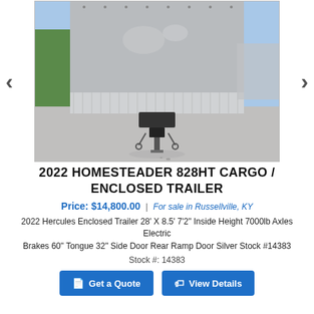[Figure (photo): Rear view of a 2022 Homesteader 828HT enclosed cargo trailer with aluminum diamond plate lower trim, tongue/hitch visible, parked on asphalt lot]
2022 HOMESTEADER 828HT CARGO / ENCLOSED TRAILER
Price: $14,800.00 | For sale in Russellville, KY
2022 Hercules Enclosed Trailer 28' X 8.5' 7'2" Inside Height 7000lb Axles Electric Brakes 60" Tongue 32" Side Door Rear Ramp Door Silver Stock #14383
Stock #: 14383
Get a Quote | View Details